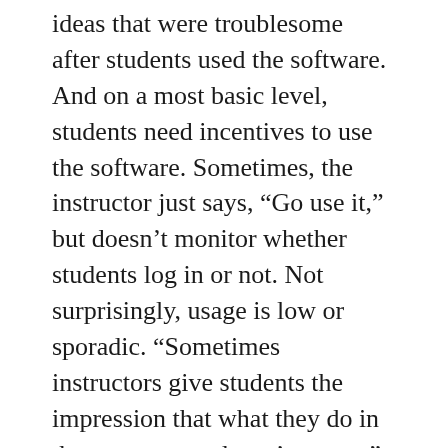ideas that were troublesome after students used the software. And on a most basic level, students need incentives to use the software. Sometimes, the instructor just says, “Go use it,” but doesn’t monitor whether students log in or not. Not surprisingly, usage is low or sporadic. “Sometimes instructors give students the impression that what they do in the courseware doesn’t matter,” said Means.
The research also highlighted that the technology was more effective when the professor or the university completely redesigned the course around it. One example is flipping the classroom, where lectures are delivered online and the entire classroom time